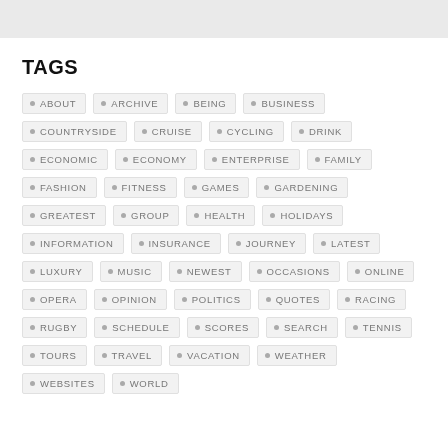TAGS
ABOUT
ARCHIVE
BEING
BUSINESS
COUNTRYSIDE
CRUISE
CYCLING
DRINK
ECONOMIC
ECONOMY
ENTERPRISE
FAMILY
FASHION
FITNESS
GAMES
GARDENING
GREATEST
GROUP
HEALTH
HOLIDAYS
INFORMATION
INSURANCE
JOURNEY
LATEST
LUXURY
MUSIC
NEWEST
OCCASIONS
ONLINE
OPERA
OPINION
POLITICS
QUOTES
RACING
RUGBY
SCHEDULE
SCORES
SEARCH
TENNIS
TOURS
TRAVEL
VACATION
WEATHER
WEBSITES
WORLD